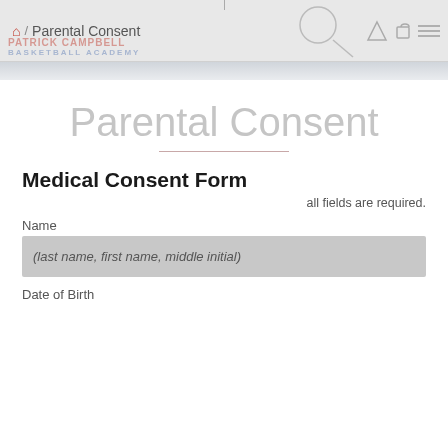Home / Parental Consent — Basketball Academy
Parental Consent
Medical Consent Form
all fields are required.
Name
(last name, first name, middle initial)
Date of Birth